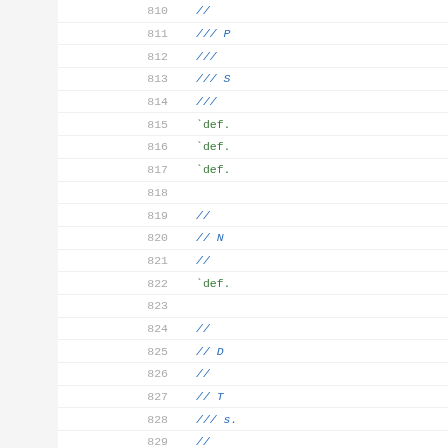810  //
811  /// P
812  ///
813  /// S
814  ///
815  `def.
816  `def.
817  `def.
818  (empty)
819  //
820  // N
821  //
822  `def.
823  (empty)
824  //
825  // D
826  //
827  // T
828  /// s.
829  //
830  `def.